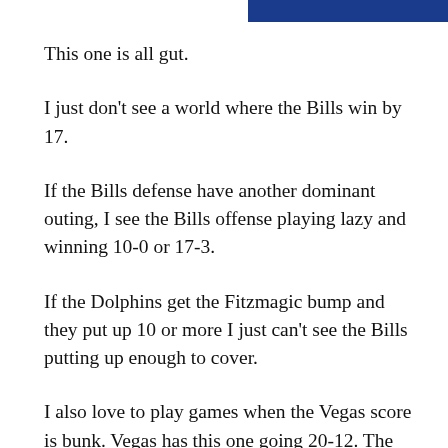[Figure (other): Blue banner bar in top right corner]
This one is all gut.
I just don't see a world where the Bills win by 17.
If the Bills defense have another dominant outing, I see the Bills offense playing lazy and winning 10-0 or 17-3.
If the Dolphins get the Fitzmagic bump and they put up 10 or more I just can't see the Bills putting up enough to cover.
I also love to play games when the Vegas score is bunk. Vegas has this one going 20-12. The